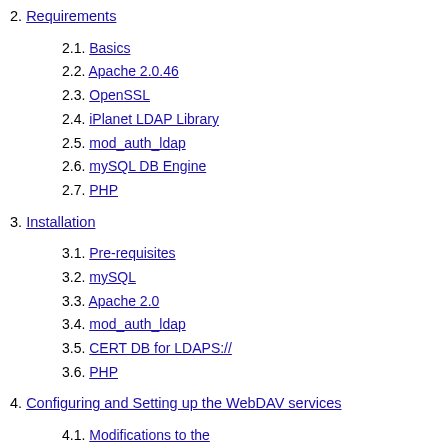2. Requirements
2.1. Basics
2.2. Apache 2.0.46
2.3. OpenSSL
2.4. iPlanet LDAP Library
2.5. mod_auth_ldap
2.6. mySQL DB Engine
2.7. PHP
3. Installation
3.1. Pre-requisites
3.2. mySQL
3.3. Apache 2.0
3.4. mod_auth_ldap
3.5. CERT DB for LDAPS://
3.6. PHP
4. Configuring and Setting up the WebDAV services
4.1. Modifications to the /usr/local/apache/conf/httpd.conf
4.2. Creating a directory for DAVLockDB
4.3. Enabling DAV
4.4. Create a Directory called DAVtest